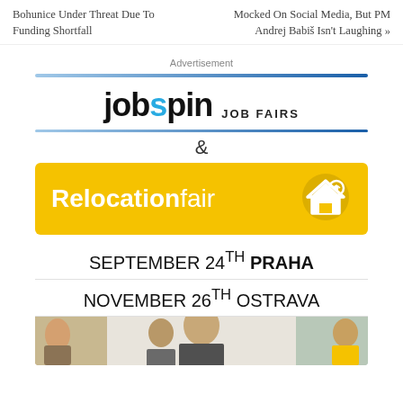Bohunice Under Threat Due To Funding Shortfall
Mocked On Social Media, But PM Andrej Babiš Isn't Laughing »
Advertisement
[Figure (logo): Jobspin Job Fairs & Relocation Fair advertisement banner with logo, yellow Relocation Fair banner with house icon, event dates: September 24th Praha, November 26th Ostrava, and photo of event attendees.]